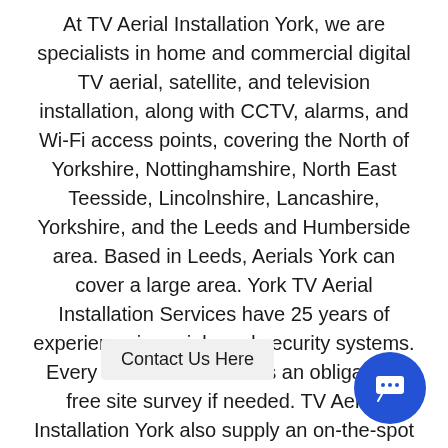At TV Aerial Installation York, we are specialists in home and commercial digital TV aerial, satellite, and television installation, along with CCTV, alarms, and Wi-Fi access points, covering the North of Yorkshire, Nottinghamshire, North East Teesside, Lincolnshire, Lancashire, Yorkshire, and the Leeds and Humberside area. Based in Leeds, Aerials York can cover a large area. York TV Aerial Installation Services have 25 years of experience in aerials and security systems. Every installation includes an obligation-free site survey if needed. TV Aerial Installation York also supply an on-the-spot quotation or, depending on your area, a site visit can be arranged over the phone or via email.
[Figure (other): Contact Us Here button bar and circular chat icon button (blue) in bottom-right corner]